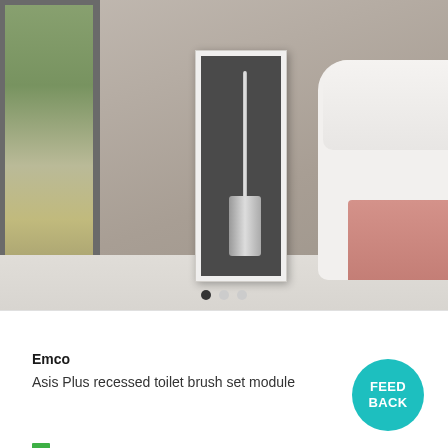[Figure (photo): A recessed wall-mounted toilet brush set module (Emco Asis Plus) shown installed in a modern bathroom. The white cabinet is open revealing a stainless steel toilet brush inside. A toilet is visible on the right side and a window with greenery is on the left.]
Emco
Asis Plus recessed toilet brush set module
FEED BACK